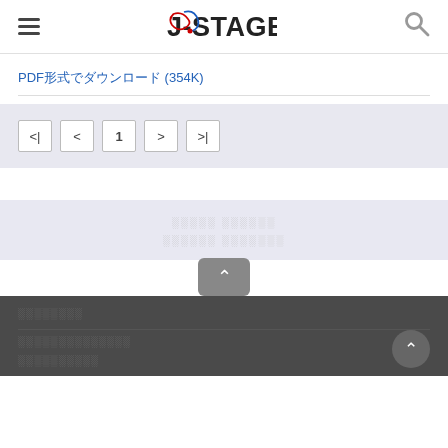J-STAGE
PDF形式でダウンロード (354K)
[Figure (other): Pagination control bar with first, previous, page 1, next, last buttons on lavender background]
科学技術情報発信・流通総合システム 独立行政法人 科学技術振興機構
サイトマップ コンテンツ・サービス一覧 プライバシーポリシー